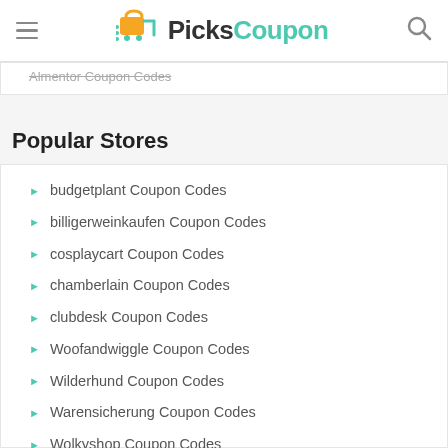PicksCoupon
Almentor Coupon Codes
Popular Stores
budgetplant Coupon Codes
billigerweinkaufen Coupon Codes
cosplaycart Coupon Codes
chamberlain Coupon Codes
clubdesk Coupon Codes
Woofandwiggle Coupon Codes
Wilderhund Coupon Codes
Warensicherung Coupon Codes
Wolkyshop Coupon Codes
Wonnewerk Coupon Codes
Wakepark Fehmarn Coupon Codes